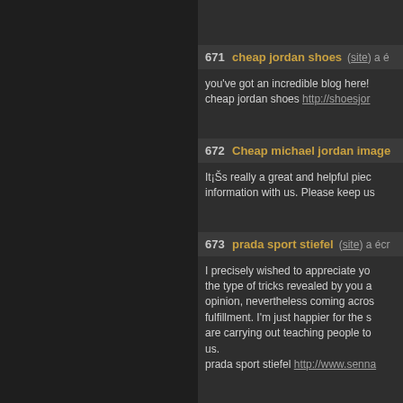671  cheap jordan shoes (site) a é...
you've got an incredible blog here! cheap jordan shoes http://shoesjor...
672  Cheap michael jordan image...
It¡Šs really a great and helpful piece... information with us. Please keep us...
673  prada sport stiefel (site) a écr...
I precisely wished to appreciate yo... the type of tricks revealed by you a... opinion, nevertheless coming acros... fulfillment. I'm just happier for the s... are carrying out teaching people to... us.
prada sport stiefel http://www.senna...
674  nike free 3.0 v4 - laufschuh (s...
Great ¡V I should definitely pronour...